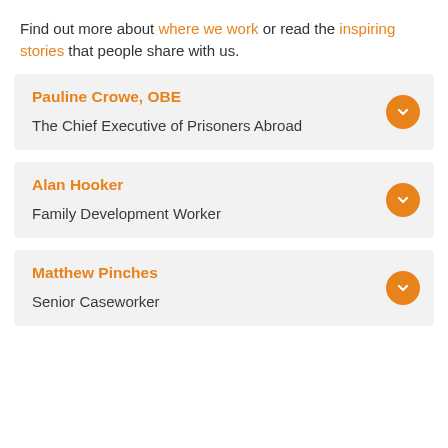Find out more about where we work or read the inspiring stories that people share with us.
Pauline Crowe, OBE
The Chief Executive of Prisoners Abroad
Alan Hooker
Family Development Worker
Matthew Pinches
Senior Caseworker